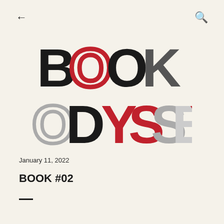← (back) | Q (search)
[Figure (logo): Book Odyssey logo made of collaged letter typography. Top line reads BOOK in large black and red letters, bottom line reads ODYSSEY in large mixed black, red and white collage-style letters.]
January 11, 2022
BOOK #02
—